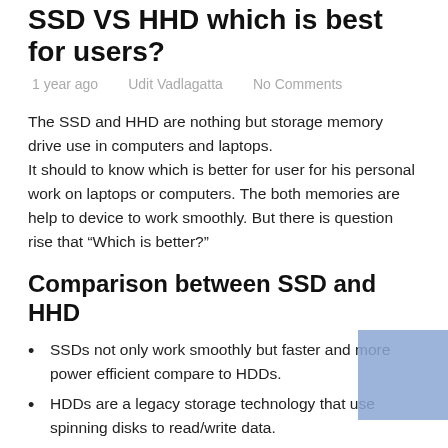SSD VS HHD which is best for users?
1 year ago    Udit Vadlagatta    No Comments
The SSD and HHD are nothing but storage memory drive use in computers and laptops.
It should to know which is better for user for his personal work on laptops or computers. The both memories are help to device to work smoothly. But there is question rise that “Which is better?”
Comparison between SSD and HHD
SSDs not only work smoothly but faster and more power efficient compare to HDDs.
HDDs are a legacy storage technology that use spinning disks to read/write data.
Cost of SSDs is more expensive than HHDs where